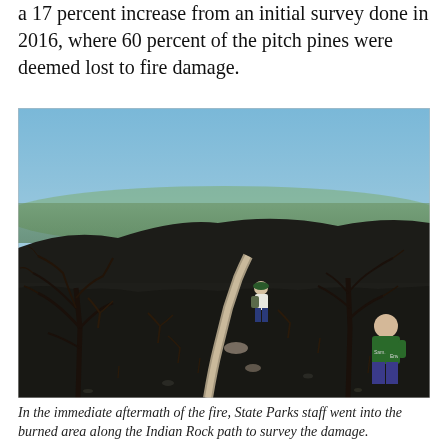a 17 percent increase from an initial survey done in 2016, where 60 percent of the pitch pines were deemed lost to fire damage.
[Figure (photo): Aerial view of fire-damaged hillside with charred black ground, burned bare trees, and two people (State Parks staff in green shirts) walking along a light-colored trail path. Lush green valley and blue sky visible in the background distance.]
In the immediate aftermath of the fire, State Parks staff went into the burned area along the Indian Rock path to survey the damage.